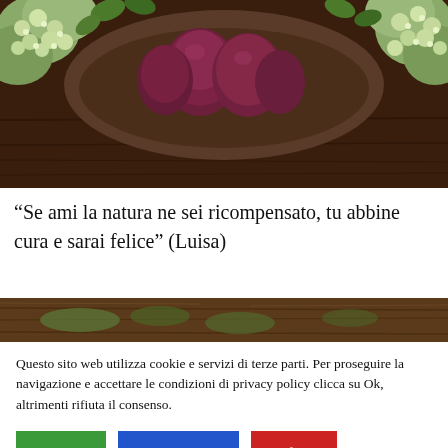[Figure (photo): Photo of a rustic wooden bowl containing red/purple onions, surrounded by green hydrangea flowers and leaves, on a dark wooden surface.]
“Se ami la natura ne sei ricompensato, tu abbine cura e sarai felice” (Luisa)
[Figure (photo): Partial photo of a weathered wooden surface with some green leaves/plants visible.]
Questo sito web utilizza cookie e servizi di terze parti. Per proseguire la navigazione e accettare le condizioni di privacy policy clicca su Ok, altrimenti rifiuta il consenso.
Accetta
Scopri di più
Rifiuta